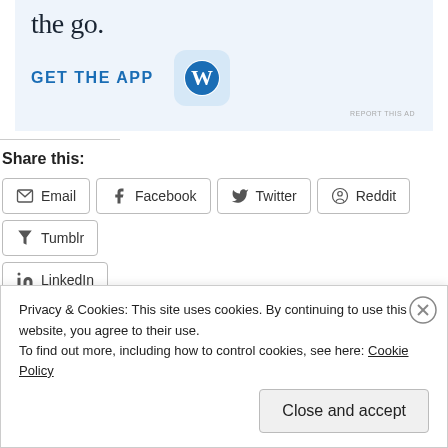[Figure (screenshot): WordPress app advertisement banner showing partial text 'the go.' with 'GET THE APP' CTA and WordPress logo icon on light blue background]
REPORT THIS AD
Share this:
Email
Facebook
Twitter
Reddit
Tumblr
LinkedIn
Like
Be the first to like this.
Privacy & Cookies: This site uses cookies. By continuing to use this website, you agree to their use.
To find out more, including how to control cookies, see here: Cookie Policy
Close and accept